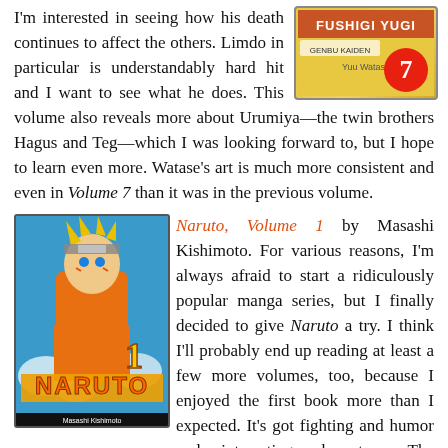I'm interested in seeing how his death continues to affect the others. Limdo in particular is understandably hard hit and I want to see what he does. This volume also reveals more about Urumiya—the twin brothers Hagus and Teg—which I was looking forward to, but I hope to learn even more. Watase's art is much more consistent and even in Volume 7 than it was in the previous volume.
[Figure (illustration): Book cover of manga volume 7 with yellow background, red circle with number 7, and text including 'Yuu Watase']
[Figure (illustration): Book cover of Naruto Volume 1 by Masashi Kishimoto, showing Naruto character with orange suit, blue background, large NARUTO logo in orange, number 1, and author name at bottom]
Naruto, Volume 1 by Masashi Kishimoto. For various reasons, I'm always afraid to start a ridiculously popular manga series, but I finally decided to give Naruto a try. I think I'll probably end up reading at least a few more volumes, too, because I enjoyed the first book more than I expected. It's got fighting and humor and interesting characters. The character designs are fun and their interactions are great. Naruto makes me grin as does his instructor Kakashi, who I think is